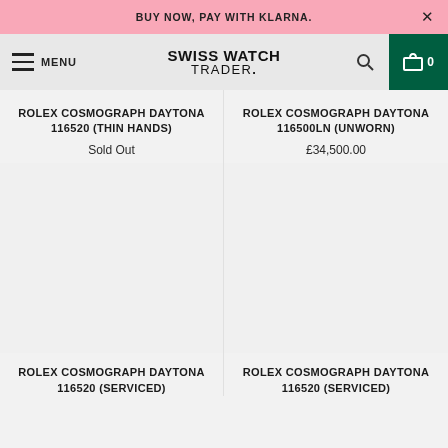BUY NOW, PAY WITH KLARNA.
SWISS WATCH TRADER.
ROLEX COSMOGRAPH DAYTONA 116520 (THIN HANDS)
Sold Out
ROLEX COSMOGRAPH DAYTONA 116500LN (UNWORN)
£34,500.00
ROLEX COSMOGRAPH DAYTONA 116520 (SERVICED)
ROLEX COSMOGRAPH DAYTONA 116520 (SERVICED)